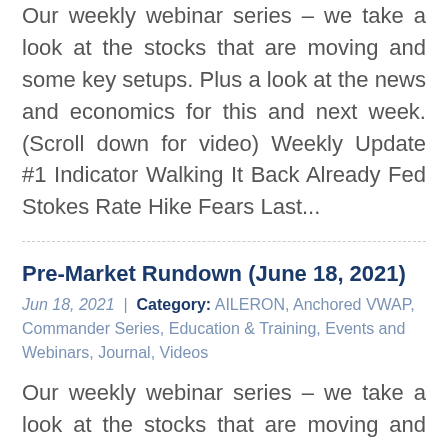Our weekly webinar series – we take a look at the stocks that are moving and some key setups. Plus a look at the news and economics for this and next week. (Scroll down for video) Weekly Update #1 Indicator Walking It Back Already Fed Stokes Rate Hike Fears Last...
Pre-Market Rundown (June 18, 2021)
Jun 18, 2021 | Category: AILERON, Anchored VWAP, Commander Series, Education & Training, Events and Webinars, Journal, Videos
Our weekly webinar series – we take a look at the stocks that are moving and some key setups. Plus a look at the news and economics for this and next week. (Scroll